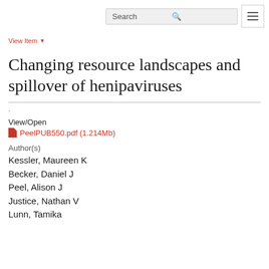Search [hamburger menu]
View Item ▼
Changing resource landscapes and spillover of henipaviruses
·
View/Open
PeelPUB550.pdf (1.214Mb)
Author(s)
Kessler, Maureen K
Becker, Daniel J
Peel, Alison J
Justice, Nathan V
Lunn, Tamika